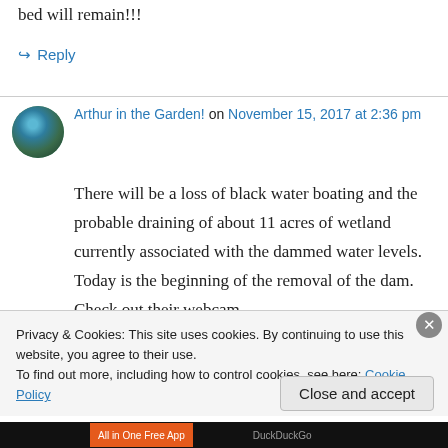bed will remain!!!
↪ Reply
Arthur in the Garden! on November 15, 2017 at 2:36 pm
There will be a loss of black water boating and the probable draining of about 11 acres of wetland currently associated with the dammed water levels. Today is the beginning of the removal of the dam. Check out their webcam.
Privacy & Cookies: This site uses cookies. By continuing to use this website, you agree to their use.
To find out more, including how to control cookies, see here: Cookie Policy
Close and accept